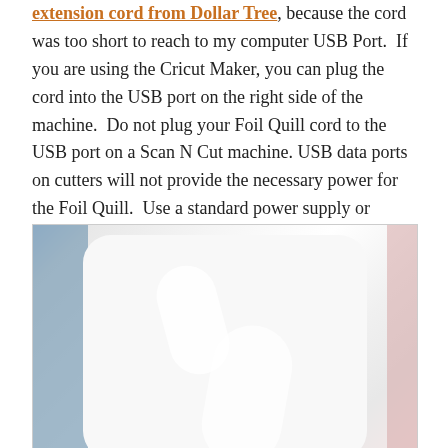extension cord from Dollar Tree, because the cord was too short to reach to my computer USB Port. If you are using the Cricut Maker, you can plug the cord into the USB port on the right side of the machine. Do not plug your Foil Quill cord to the USB port on a Scan N Cut machine. USB data ports on cutters will not provide the necessary power for the Foil Quill. Use a standard power supply or computer USB port.
[Figure (photo): Close-up photo of a white USB power adapter/charger device against a background with bluish elements on the left and pinkish on the right]